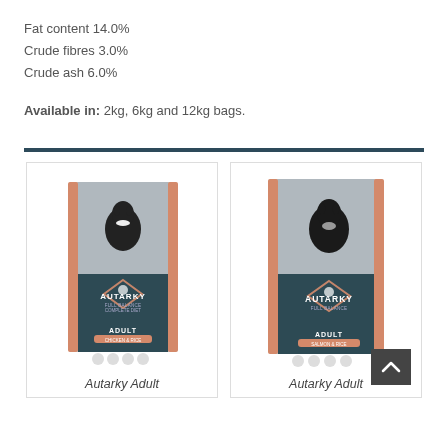Fat content 14.0%
Crude fibres 3.0%
Crude ash 6.0%
Available in: 2kg, 6kg and 12kg bags.
[Figure (photo): Autarky Adult dog food bag with black and white border collie on the packaging, dark teal and salmon color design]
[Figure (photo): Autarky Adult dog food bag (larger/different variant) with black and white border collie on the packaging, dark teal and salmon color design]
Autarky Adult
Autarky Adult